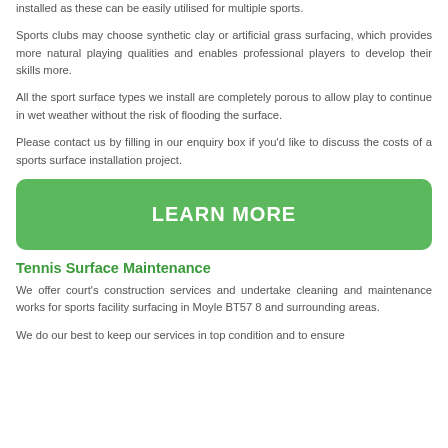installed as these can be easily utilised for multiple sports.
Sports clubs may choose synthetic clay or artificial grass surfacing, which provides more natural playing qualities and enables professional players to develop their skills more.
All the sport surface types we install are completely porous to allow play to continue in wet weather without the risk of flooding the surface.
Please contact us by filling in our enquiry box if you'd like to discuss the costs of a sports surface installation project.
[Figure (other): Green button with text LEARN MORE]
Tennis Surface Maintenance
We offer court's construction services and undertake cleaning and maintenance works for sports facility surfacing in Moyle BT57 8 and surrounding areas.
We do our best to keep our services in top condition and to ensure